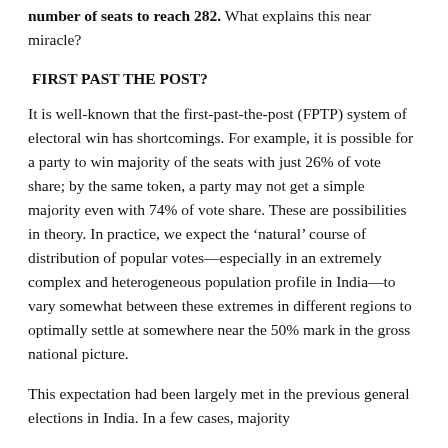number of seats to reach 282. What explains this near miracle?
FIRST PAST THE POST?
It is well-known that the first-past-the-post (FPTP) system of electoral win has shortcomings. For example, it is possible for a party to win majority of the seats with just 26% of vote share; by the same token, a party may not get a simple majority even with 74% of vote share. These are possibilities in theory. In practice, we expect the ‘natural’ course of distribution of popular votes—especially in an extremely complex and heterogeneous population profile in India—to vary somewhat between these extremes in different regions to optimally settle at somewhere near the 50% mark in the gross national picture.
This expectation had been largely met in the previous general elections in India. In a few cases, majority